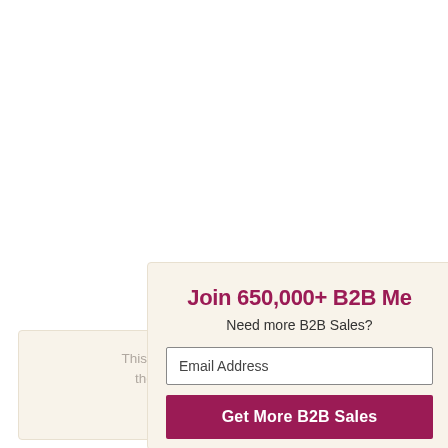This website us... the best ex...
Join 650,000+ B2B Me...
Need more B2B Sales?
Email Address
Get More B2B Sales